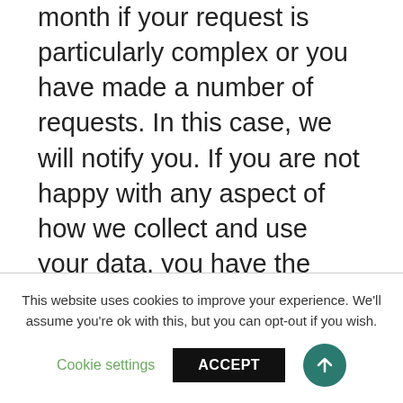month if your request is particularly complex or you have made a number of requests. In this case, we will notify you. If you are not happy with any aspect of how we collect and use your data, you have the right to complain to the Information Commissioner's Office (ICO), the UK supervisory authority for data protection issues (www.ico.org.uk). We should be grateful if you would contact us first if you do have a complaint so that we can try to resolve it for you.
This website uses cookies to improve your experience. We'll assume you're ok with this, but you can opt-out if you wish.